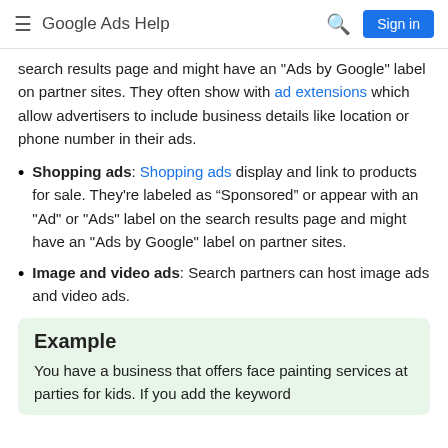Google Ads Help
search results page and might have an "Ads by Google" label on partner sites. They often show with ad extensions which allow advertisers to include business details like location or phone number in their ads.
Shopping ads: Shopping ads display and link to products for sale. They're labeled as “Sponsored” or appear with an "Ad" or "Ads" label on the search results page and might have an "Ads by Google" label on partner sites.
Image and video ads: Search partners can host image ads and video ads.
Example
You have a business that offers face painting services at parties for kids. If you add the keyword